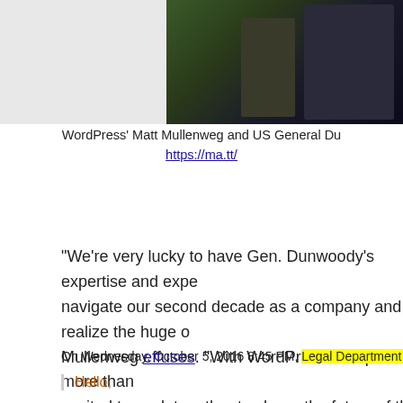[Figure (photo): Photo of WordPress' Matt Mullenweg and US General Dunwoody, partially visible, cropped at right edge]
WordPress' Matt Mullenweg and US General Du...
https://ma.tt/
“We’re very lucky to have Gen. Dunwoody’s expertise and expe... navigate our second decade as a company and realize the huge o... Mullenweg effuses. “With WordPress now powering more than... excited to work together to shape the future of the open web. Ge... to blaze a trail for open source and distributed companies all ov... To make the circle complete Mullenweg has also tapped one Ja... executive of BlueHost, to manage WordPress.com’s JetPack pr... legal department enforced a strict, “censor first, ask questions la... copyright infringement claim, however frivolous, as MHB expe... booted us entirely for alleged “Terms of Service” violations stem... Sandy Hook-linked scammers.
On Wednesday, October 5, 2016 8:45 PM, Legal Department <legal@...
Hello,